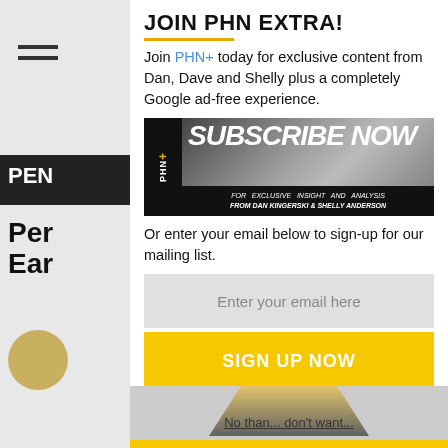JOIN PHN EXTRA!
Join PHN+ today for exclusive content from Dan, Dave and Shelly plus a completely Google ad-free experience.
[Figure (infographic): PHN+ Subscribe Now banner with text: SUBSCRIBE NOW FOR EXCLUSIVE INSIGHT AND ANALYSIS FROM DAN KINGERSKI & SHELLY ANDERSON]
Or enter your email below to sign-up for our mailing list.
Enter your email here
SIGN UP NOW
We respect your privacy and take protecting it seriously
No thanks, I don't want...